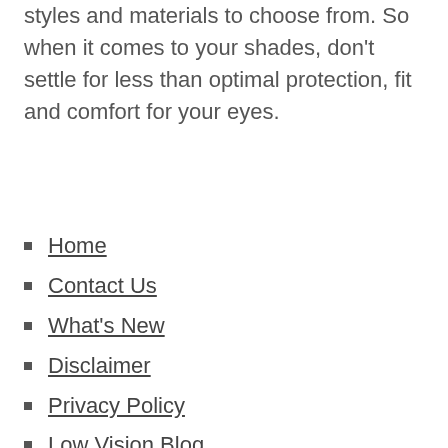styles and materials to choose from. So when it comes to your shades, don't settle for less than optimal protection, fit and comfort for your eyes.
Home
Contact Us
What's New
Disclaimer
Privacy Policy
Low Vision Blog